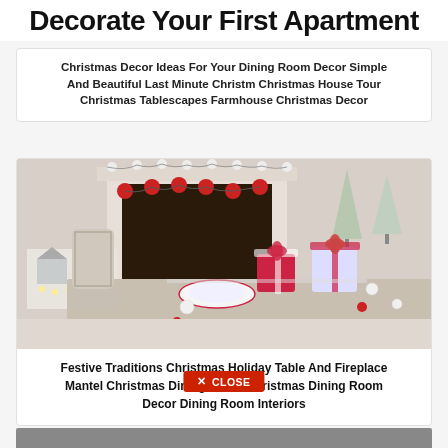Decorate Your First Apartment
Christmas Decor Ideas For Your Dining Room Decor Simple And Beautiful Last Minute Christm Christmas House Tour Christmas Tablescapes Farmhouse Christmas Decor
[Figure (photo): A Christmas holiday dining room scene with a set table featuring red and white decorations, wrapped gifts, white ornament balls, china dishes, a fireplace with a Christmas banner garland, and silver Christmas trees in background.]
Festive Traditions Christmas Holiday Table And Fireplace Mantel Christmas Dining Room Christmas Dining Room Decor Dining Room Interiors
✕ CLOSE